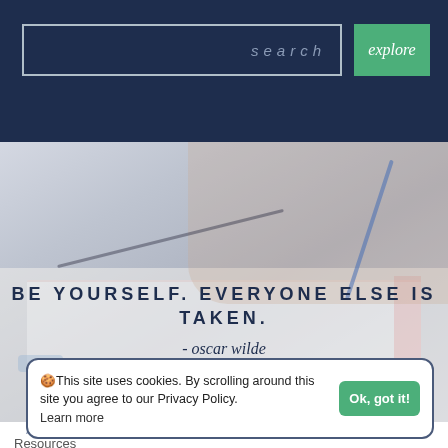[Figure (screenshot): Website header with dark navy background, search input box with 'search' placeholder text in italic, and a green 'explore' button]
[Figure (photo): Person writing in a planner/notebook with a blue pencil, glasses resting on the notebook, white background — hero image]
BE YOURSELF. EVERYONE ELSE IS TAKEN.
- oscar wilde
This site uses cookies. By scrolling around this site you agree to our Privacy Policy. Learn more
NAVIGATE
About
Resources